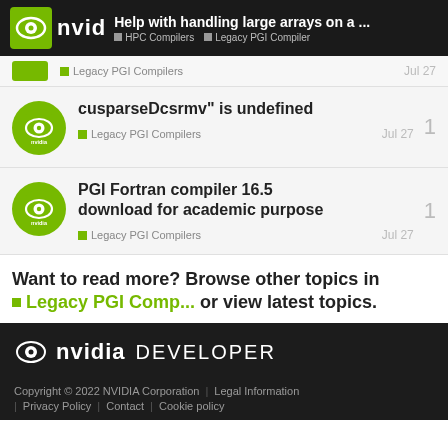Help with handling large arrays on a ... | HPC Compilers | Legacy PGI Compiler
Legacy PGI Compilers — Jul 27
cusparseDcsrmv" is undefined — Legacy PGI Compilers — Jul 27 — 1 reply
PGI Fortran compiler 16.5 download for academic purpose — Legacy PGI Compilers — Jul 27 — 1 reply
Want to read more? Browse other topics in Legacy PGI Comp... or view latest topics.
NVIDIA DEVELOPER
Copyright © 2022 NVIDIA Corporation | Legal Information | Privacy Policy | Contact | Cookie policy